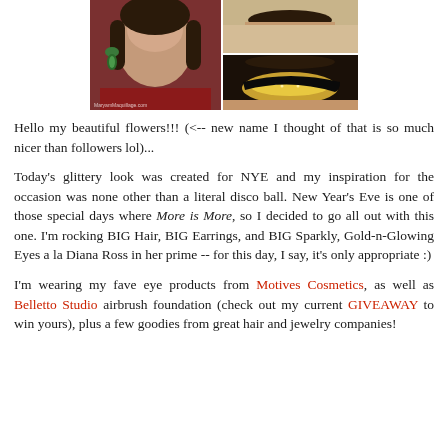[Figure (photo): Photo collage: left side shows a woman with large green drop earrings and dark hair wearing a red outfit (watermark: MaryamMaquillage.com), right side shows two makeup close-ups — top a forehead/brow area, bottom a glittery gold eye makeup look with dramatic liner]
Hello my beautiful flowers!!! (<-- new name I thought of that is so much nicer than followers lol)...
Today's glittery look was created for NYE and my inspiration for the occasion was none other than a literal disco ball. New Year's Eve is one of those special days where More is More, so I decided to go all out with this one. I'm rocking BIG Hair, BIG Earrings, and BIG Sparkly, Gold-n-Glowing Eyes a la Diana Ross in her prime -- for this day, I say, it's only appropriate :)
I'm wearing my fave eye products from Motives Cosmetics, as well as Belletto Studio airbrush foundation (check out my current GIVEAWAY to win yours), plus a few goodies from great hair and jewelry companies!